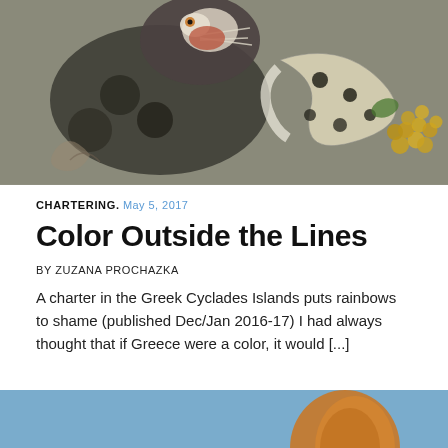[Figure (photo): Ancient Roman or Greek mosaic artwork depicting a large animal (possibly a panther or leopard) surrounded by decorative motifs including grapes and geometric patterns, rendered in small stone tiles of grey, beige, brown, black, white, and gold tones.]
CHARTERING. MAY 5, 2017
Color Outside the Lines
BY ZUZANA PROCHAZKA
A charter in the Greek Cyclades Islands puts rainbows to shame (published Dec/Jan 2016-17) I had always thought that if Greece were a color, it would [...]
[Figure (photo): Partial view of a second article's header image showing a warm-toned background (blue and orange/brown tones), partially visible at the bottom of the page.]